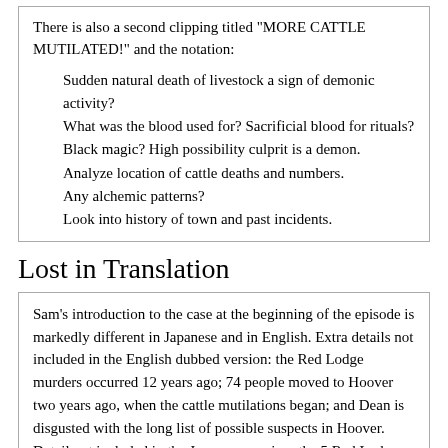There is also a second clipping titled "MORE CATTLE MUTILATED!" and the notation:
Sudden natural death of livestock a sign of demonic activity?
What was the blood used for? Sacrificial blood for rituals?
Black magic? High possibility culprit is a demon.
Analyze location of cattle deaths and numbers.
Any alchemic patterns?
Look into history of town and past incidents.
Lost in Translation
Sam's introduction to the case at the beginning of the episode is markedly different in Japanese and in English. Extra details not included in the English dubbed version: the Red Lodge murders occurred 12 years ago; 74 people moved to Hoover two years ago, when the cattle mutilations began; and Dean is disgusted with the long list of possible suspects in Hoover. Detail not included in the Japanese version: the 5 Red Lodge victims had all just moved to Red Lodge 3 years before they were.